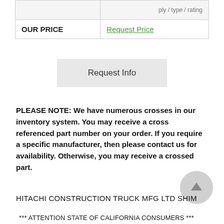|  |  |
| --- | --- |
|  |  |
| OUR PRICE | Request Price |
Request Info
PLEASE NOTE: We have numerous crosses in our inventory system. You may receive a cross referenced part number on your order. If you require a specific manufacturer, then please contact us for availability. Otherwise, you may receive a crossed part.
HITACHI CONSTRUCTION TRUCK MFG LTD SHIM
*** ATTENTION STATE OF CALIFORNIA CONSUMERS ***